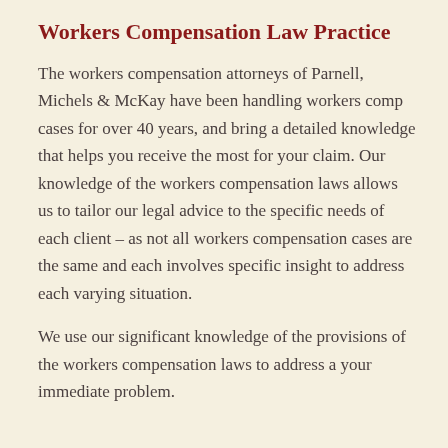Workers Compensation Law Practice
The workers compensation attorneys of Parnell, Michels & McKay have been handling workers comp cases for over 40 years, and bring a detailed knowledge that helps you receive the most for your claim. Our knowledge of the workers compensation laws allows us to tailor our legal advice to the specific needs of each client – as not all workers compensation cases are the same and each involves specific insight to address each varying situation.
We use our significant knowledge of the provisions of the workers compensation laws to address a your immediate problem.